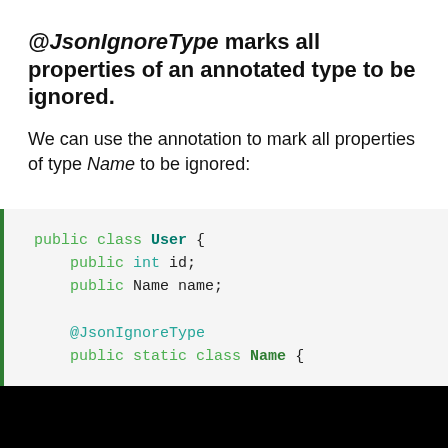@JsonIgnoreType marks all properties of an annotated type to be ignored.
We can use the annotation to mark all properties of type Name to be ignored:
[Figure (screenshot): Code block showing Java class with @JsonIgnoreType annotation. public class User { public int id; public Name name; @JsonIgnoreType public static class Name {]
[Figure (screenshot): Black video player area with a white play button triangle in the center.]